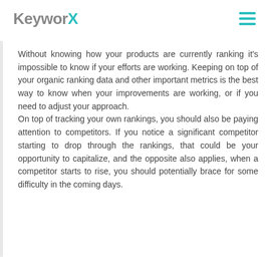KeyworX
Without knowing how your products are currently ranking it's impossible to know if your efforts are working. Keeping on top of your organic ranking data and other important metrics is the best way to know when your improvements are working, or if you need to adjust your approach. On top of tracking your own rankings, you should also be paying attention to competitors. If you notice a significant competitor starting to drop through the rankings, that could be your opportunity to capitalize, and the opposite also applies, when a competitor starts to rise, you should potentially brace for some difficulty in the coming days.